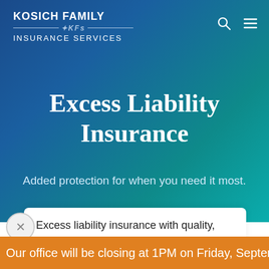[Figure (screenshot): Kosich Family Insurance Services company logo with white text on gradient blue-teal background, showing 'KOSICH FAMILY' with KFS monogram divider and 'INSURANCE SERVICES' below]
Excess Liability Insurance
Added protection for when you need it most.
Excess liability insurance with quality, personalized service.
Our office will be closing at 1PM on Friday, September